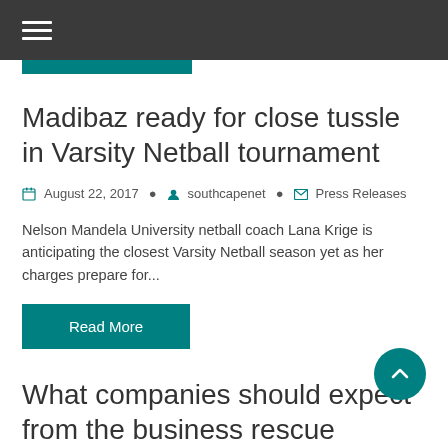Navigation menu
Madibaz ready for close tussle in Varsity Netball tournament
August 22, 2017  southcapenet  Press Releases
Nelson Mandela University netball coach Lana Krige is anticipating the closest Varsity Netball season yet as her charges prepare for...
Read More
What companies should expect from the business rescue process